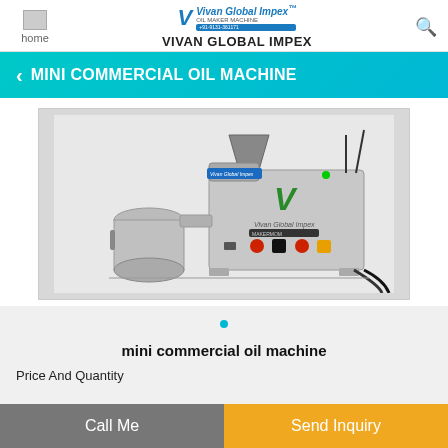home | VIVAN GLOBAL IMPEX
MINI COMMERCIAL OIL MACHINE
[Figure (photo): Mini commercial oil machine by Vivan Global Impex — a stainless steel oil press machine with a cylindrical collection container on the left side and a control panel with switches and dials on the right side. The Vivan Global Impex logo and branding are visible on the machine.]
mini commercial oil machine
Price And Quantity
Call Me
Send Inquiry